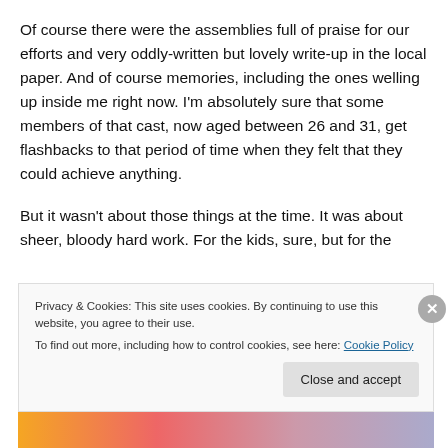Of course there were the assemblies full of praise for our efforts and very oddly-written but lovely write-up in the local paper. And of course memories, including the ones welling up inside me right now. I'm absolutely sure that some members of that cast, now aged between 26 and 31, get flashbacks to that period of time when they felt that they could achieve anything.
But it wasn't about those things at the time. It was about sheer, bloody hard work. For the kids, sure, but for the
Privacy & Cookies: This site uses cookies. By continuing to use this website, you agree to their use.
To find out more, including how to control cookies, see here: Cookie Policy